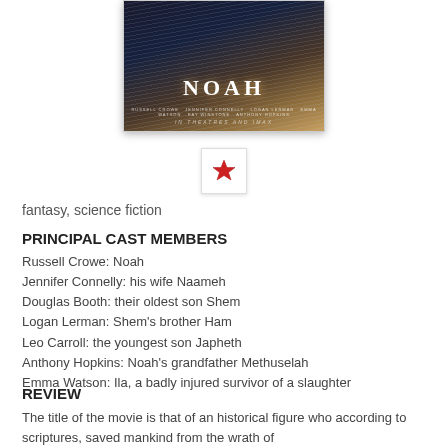[Figure (photo): Movie poster for the film NOAH showing a figure in heavy rain with the title NOAH in large white letters and IMAX branding]
[Figure (other): Red star bookmark/favorite icon badge on white square]
fantasy, science fiction
PRINCIPAL CAST MEMBERS
Russell Crowe: Noah
Jennifer Connelly: his wife Naameh
Douglas Booth: their oldest son Shem
Logan Lerman: Shem's brother Ham
Leo Carroll: the youngest son Japheth
Anthony Hopkins: Noah's grandfather Methuselah
Emma Watson: Ila, a badly injured survivor of a slaughter
REVIEW
The title of the movie is that of an historical figure who according to scriptures, saved mankind from the wrath of